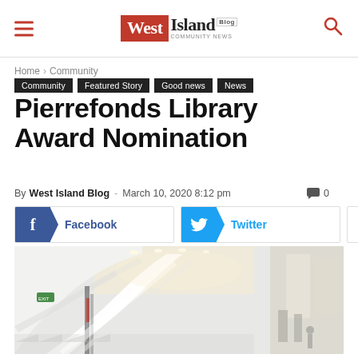West Island Blog – Community News
Home › Community
Community  Featured Story  Good news  News
Pierrefonds Library Award Nomination
By West Island Blog - March 10, 2020 8:12 pm  0
[Figure (screenshot): Social share buttons: Facebook, Twitter, and a plus button]
[Figure (photo): Interior of a modern library building with white curved architectural elements, staircases, and warm ceiling lighting]